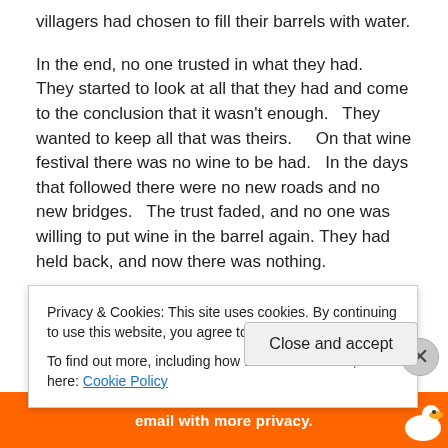villagers had chosen to fill their barrels with water.
In the end, no one trusted in what they had.   They started to look at all that they had and come to the conclusion that it wasn't enough.   They wanted to keep all that was theirs.      On that wine festival there was no wine to be had.    In the days that followed there were no new roads and no new bridges.   The trust faded, and no one was willing to put wine in the barrel again. They had held back, and now there was nothing.
It is said that even today if you find this village you would
Privacy & Cookies: This site uses cookies. By continuing to use this website, you agree to their use.
To find out more, including how to control cookies, see here: Cookie Policy
Close and accept
email with more privacy.